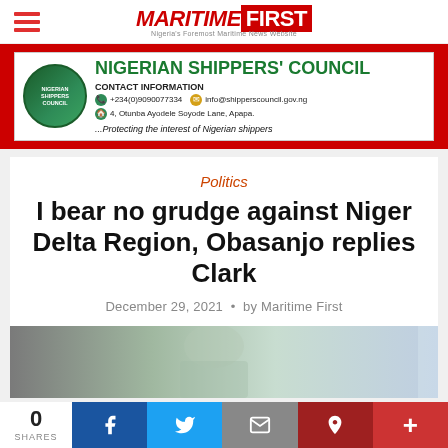MARITIME FIRST – Nigeria's Foremost Maritime News Website
[Figure (other): Nigerian Shippers' Council advertisement banner with logo, contact information: +234(0)9090077334, 4, Otunba Ayodele Soyode Lane, Apapa, info@shipperscouncil.gov.ng, tagline: ...Protecting the interest of Nigerian shippers]
Politics
I bear no grudge against Niger Delta Region, Obasanjo replies Clark
December 29, 2021 · by Maritime First
[Figure (photo): Partial photo of a person wearing fabric, appears to be a news article illustration]
0 SHARES | Share on Facebook | Share on Twitter | Share via Email | Share on Pinterest | More